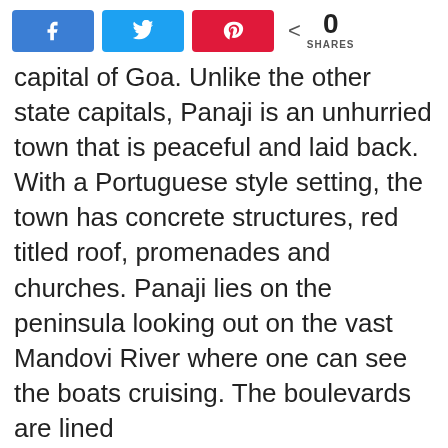[Figure (other): Social share buttons: Facebook (blue), Twitter (light blue), Pinterest (red), and a share count showing 0 SHARES]
capital of Goa. Unlike the other state capitals, Panaji is an unhurried town that is peaceful and laid back. With a Portuguese style setting, the town has concrete structures, red titled roof, promenades and churches. Panaji lies on the peninsula looking out on the vast Mandovi River where one can see the boats cruising. The boulevards are lined ...